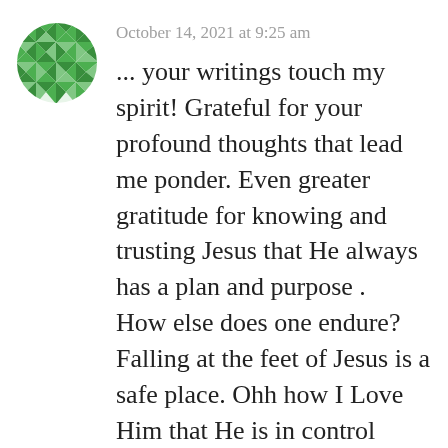[Figure (illustration): Green and white geometric quilt-pattern circular avatar icon]
October 14, 2021 at 9:25 am
... your writings touch my spirit! Grateful for your profound thoughts that lead me ponder. Even greater gratitude for knowing and trusting Jesus that He always has a plan and purpose . How else does one endure? Falling at the feet of Jesus is a safe place. Ohh how I Love Him that He is in control when it feels our